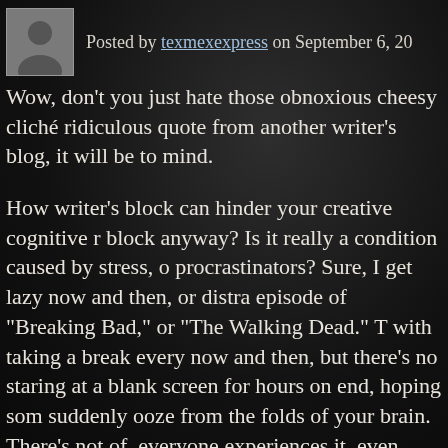Posted by texmexexpress on September 6, 20...
Wow, don't you just hate those obnoxious cheesy cliché ridiculous quote from another writer's blog, it will be to mind.
How writer's block can hinder your creative cognitive r block anyway? Is it really a condition caused by stress, o procrastinators? Sure, I get lazy now and then, or distra episode of "Breaking Bad," or "The Walking Dead." Th with taking a break every now and then, but there's no staring at a blank screen for hours on end, hoping som suddenly ooze from the folds of your brain. There's not of, everyone experiences it, even Pulitzer Prize feature imperfect beings, and our brain is a weave of mysterio
There's no right or wrong way to alleviate writer's bloc science, and creative writing is an art form in itself. So seem to flow on the screen, don't beat yourself up. Wri